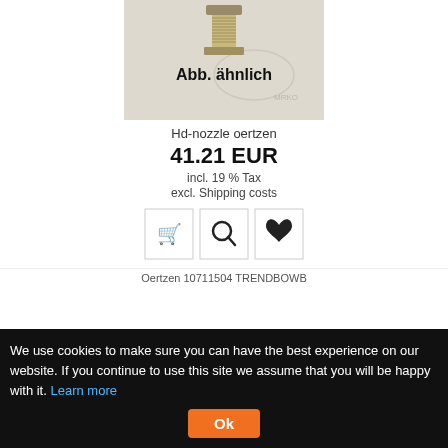[Figure (photo): Product photo of an HD nozzle fitting (metallic threaded component) with text 'Abb. ähnlich' overlaid on a light background]
Hd-nozzle oertzen
41.21 EUR
incl. 19 % Tax
excl. Shipping costs
[Figure (other): Three action buttons: shopping cart icon, magnifying glass icon, heart/wishlist icon]
Oertzen 10711504 TRENDBOWB
We use cookies to make sure you can have the best experience on our website. If you continue to use this site we assume that you will be happy with it. Learn more
Ok